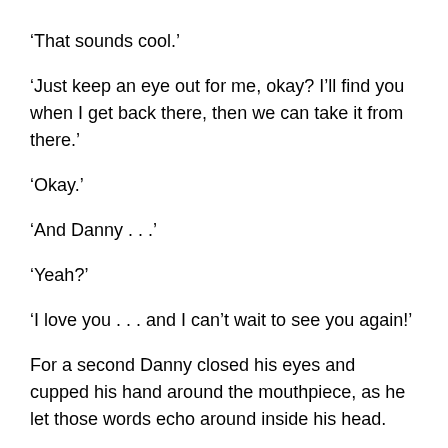‘That sounds cool.’
‘Just keep an eye out for me, okay? I’ll find you when I get back there, then we can take it from there.’
‘Okay.’
‘And Danny . . .’
‘Yeah?’
‘I love you . . . and I can’t wait to see you again!’
For a second Danny closed his eyes and cupped his hand around the mouthpiece, as he let those words echo around inside his head.
The only person who had ever said that to him was his mother, but that was different. It didn’t mean the same